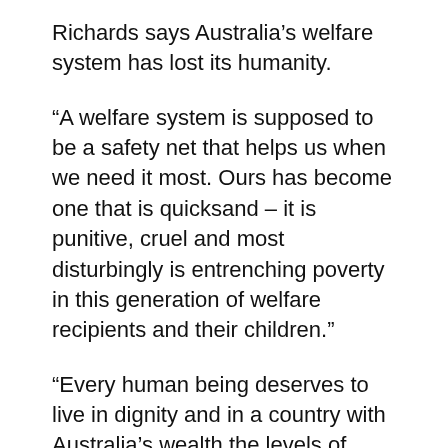Richards says Australia’s welfare system has lost its humanity.
“A welfare system is supposed to be a safety net that helps us when we need it most. Ours has become one that is quicksand – it is punitive, cruel and most disturbingly is entrenching poverty in this generation of welfare recipients and their children.”
“Every human being deserves to live in dignity and in a country with Australia’s wealth the levels of poverty particularly among single mothers, children and older women are a disgrace. They are also a wasted opportunity and resource for a stronger Australia.”